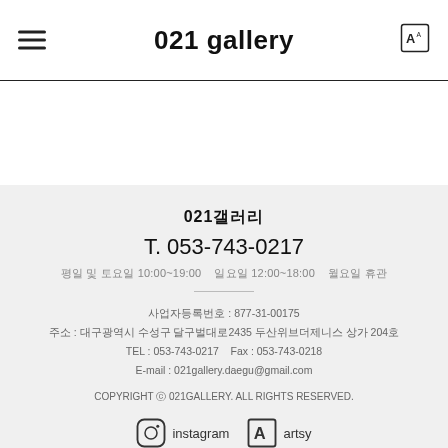021 gallery
021갤러리
T. 053-743-0217
평일 및 토요일 10:00~19:00   일요일 12:00~18:00   월요일 휴관
사업자등록번호 : 877-31-00175
주소 : 대구광역시 수성구 달구벌대로2435 두산위브더제니스 상가 204호
TEL : 053-743-0217   Fax : 053-743-0218
E-mail : 021gallery.daegu@gmail.com
COPYRIGHT ⓒ 021GALLERY. ALL RIGHTS RESERVED.
instagram   artsy